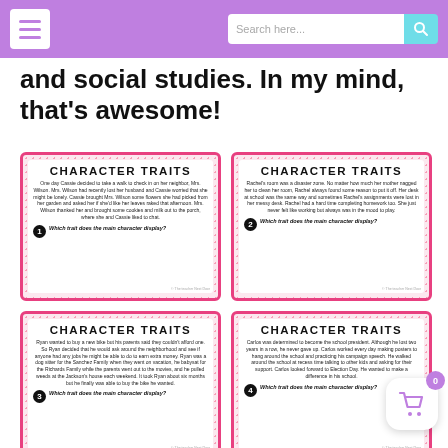Navigation bar with menu and search
and social studies. In my mind, that's awesome!
[Figure (illustration): Four educational 'Character Traits' task cards arranged in a 2x2 grid. Each card has a pink dotted border, a bold 'CHARACTER TRAITS' title, a short reading passage, and a question asking 'Which trait does the main character display?' numbered 1-4.]
Card 1: One day Cassie decided to take a walk to check in on her neighbor, Mrs. Wilson. Mrs. Wilson had recently lost her husband and Cassie worried that she might be lonely. Cassie brought Mrs. Wilson some flowers she had picked from her garden and asked her if she'd like her leaves raked that afternoon. Mrs. Wilson thanked her and brought some cookies and milk out to the porch, where she and Cassie liked to chat. Which trait does the main character display?
Card 2: Rachel's room was a disaster zone. No matter how much her mother nagged her to clean her room, Rachel always found some reason to put it off. Her desk at school was the same way and sometimes Rachel's assignments were lost in her messy desk. Rachel had a hard time completing homework too. She just never felt like working but always was in the mood to play. Which trait does the main character display?
Card 3: Ryan wanted to buy a new bike but his parents said they couldn't afford one. So Ryan decided that he would ask around the neighborhood and see if anyone had any jobs he might be able to do to earn extra money. Ryan was a dog sitter for the Sanchez Family when they went on vacation, he babysat for the Richards Family while the parents went out to the movies, and he pulled weeds at the Jackson's house each weekend. It took Ryan about six months but he finally was able to buy the bike he wanted. Which trait does the main character display?
Card 4: Carlos was determined to become the school president. Although he lost two years in a row, he never gave up. Carlos worked every day making posters to hang around the school and practicing his campaign speech. He walked around the school at recess time talking to other kids and asking for their support. Carlos looked forward to Election Day. He wanted to make a difference in his school. Which trait does the main character display?